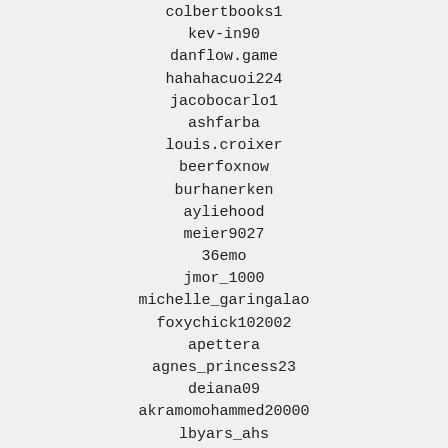colbertbooks1
kev-in90
danflow.game
hahahacuoi224
jacobocarlo1
ashfarba
louis.croixer
beerfoxnow
burhanerken
ayliehood
meier9027
36emo
jmor_1000
michelle_garingalao
foxychick102002
apettera
agnes_princess23
deiana09
akramomohammed20000
lbyars_ahs
guigui26.gs
man2372
hexvengence
densuvorov2003
lveda1010